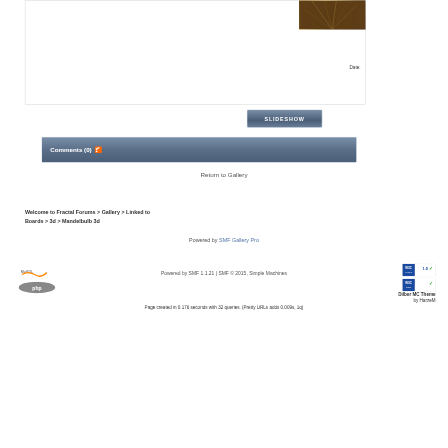[Figure (photo): Partial view of fractal image in top right corner, brown/gold tones]
Date:
[Figure (other): SLIDESHOW button, blue-grey gradient]
Comments (0)
Return to Gallery
Welcome to Fractal Forums > Gallery > Linked to Boards > 3d > Mandelbulb 3d
Powered by SMF Gallery Pro
Powered by SMF 1.1.21 | SMF © 2015, Simple Machines
Page created in 0.176 seconds with 32 queries. (Pretty URLs adds 0.009s, 1q)
Dilber MC Theme by HarzeM